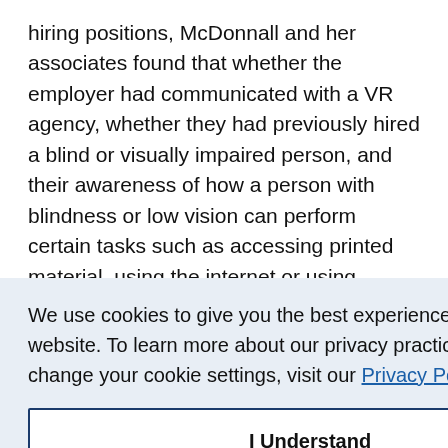hiring positions, McDonnall and her associates found that whether the employer had communicated with a VR agency, whether they had previously hired a blind or visually impaired person, and their awareness of how a person with blindness or low vision can perform certain tasks such as accessing printed material, using the internet or using standard
We use cookies to give you the best experience on our website. To learn more about our privacy practices, and how to change your cookie settings, visit our Privacy Policy.
I Understand
impaired workers, researchers hav